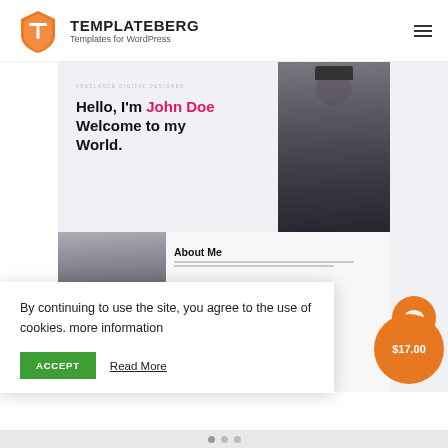[Figure (logo): Templateberg logo: orange T-shield icon with brand name TEMPLATEBERG and tagline 'Templates for WordPress']
TEMPLATEBERG
Templates for WordPress
[Figure (screenshot): Screenshot of a WordPress portfolio/personal website theme showing: 'FREELANCE DIGITAL DESIGNER' small text, 'Hello, I'm John Doe Welcome to my World.' heading in black and pink, a photo of a man with glasses, hat and scarf, and an 'About Me' section below with another photo of the same man.]
By continuing to use the site, you agree to the use of cookies. more information
ACCEPT
Read More
$17.00